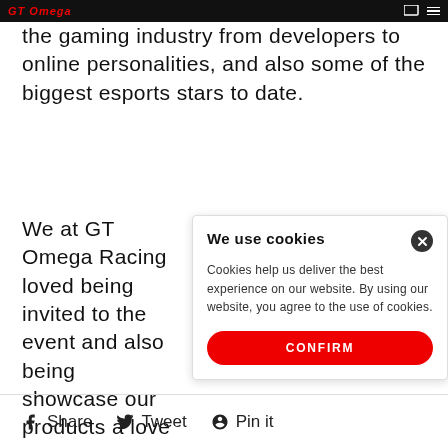GT Omega [logo/navigation bar]
the gaming industry from developers to online personalities, and also some of the biggest esports stars to date.
We at GT Omega Racing loved being invited to the event and also being showcase our products a love to be invited back fo ceremony which will hope and better than 2017, wh You can see more photos event on the @esportsIA
We use cookies
Cookies help us deliver the best experience on our website. By using our website, you agree to the use of cookies.
CONFIRM
Share   Tweet   Pin it